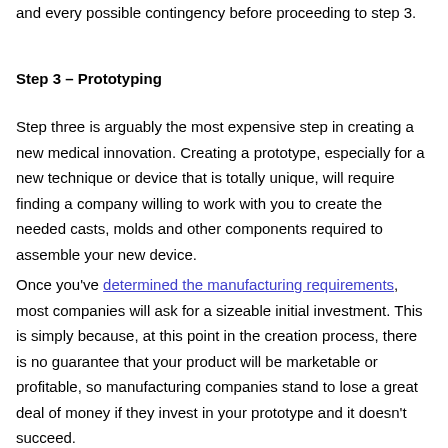and every possible contingency before proceeding to step 3.
Step 3 – Prototyping
Step three is arguably the most expensive step in creating a new medical innovation. Creating a prototype, especially for a new technique or device that is totally unique, will require finding a company willing to work with you to create the needed casts, molds and other components required to assemble your new device.
Once you've determined the manufacturing requirements, most companies will ask for a sizeable initial investment. This is simply because, at this point in the creation process, there is no guarantee that your product will be marketable or profitable, so manufacturing companies stand to lose a great deal of money if they invest in your prototype and it doesn't succeed.